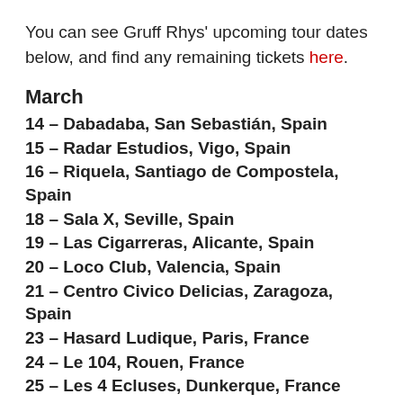You can see Gruff Rhys' upcoming tour dates below, and find any remaining tickets here.
March
14 – Dabadaba, San Sebastián, Spain
15 – Radar Estudios, Vigo, Spain
16 – Riquela, Santiago de Compostela, Spain
18 – Sala X, Seville, Spain
19 – Las Cigarreras, Alicante, Spain
20 – Loco Club, Valencia, Spain
21 – Centro Civico Delicias, Zaragoza, Spain
23 – Hasard Ludique, Paris, France
24 – Le 104, Rouen, France
25 – Les 4 Ecluses, Dunkerque, France